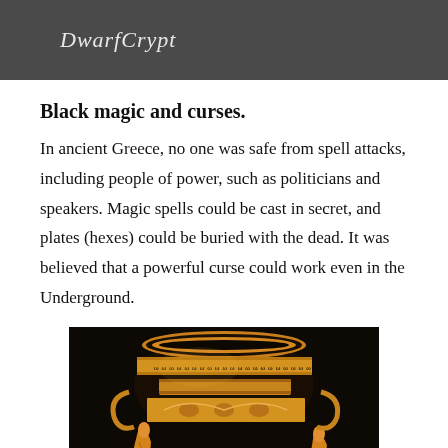DwarfCrypt
Black magic and curses.
In ancient Greece, no one was safe from spell attacks, including people of power, such as politicians and speakers. Magic spells could be cast in secret, and plates (hexes) could be buried with the dead. It was believed that a powerful curse could work even in the Underground.
[Figure (photo): Ancient Greek red-figure pottery showing a large decorative vase (loutrophoros or krater) with orange/amber figures of robed people depicted against a black background, with ornate floral and geometric banding around the neck.]